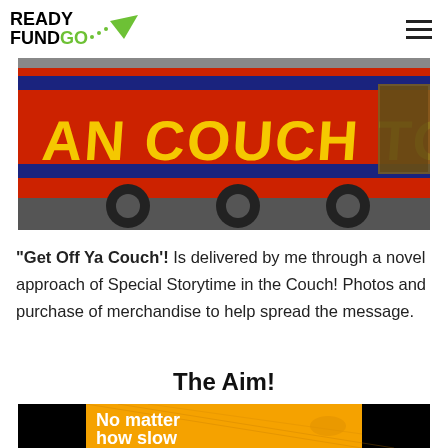READY FUND GO
[Figure (photo): Side of a red bus/truck trailer with 'COUCH TOUR' text written in large yellow letters on a red background, with wheels visible at the bottom.]
“Get Off Ya Couch’! Is delivered by me through a novel approach of Special Storytime in the Couch! Photos and purchase of merchandise to help spread the message.
The Aim!
[Figure (photo): Video thumbnail with orange background and partial footstep silhouette, showing white bold text 'No matter how slow' on the left portion, with black areas on either side.]